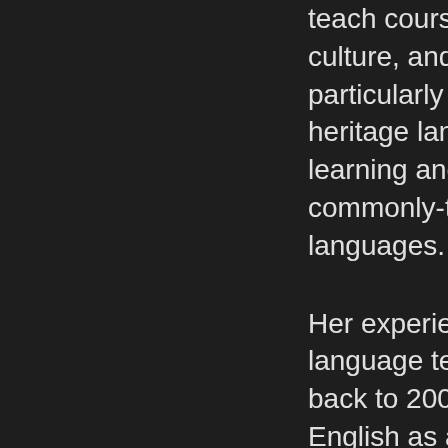teach courses on identity, culture, and literacy, particularly in relation to heritage language learning and less-commonly-taught languages.
Her experience as a language teacher dates back to 2002, teaching English as a foreign language in the Czech Republic. After four years overseas, she taught English for academic purposes in a number of settings. She began teaching applied linguistics and language pedagogy at the university level in 2011. She has presented at major conferences around